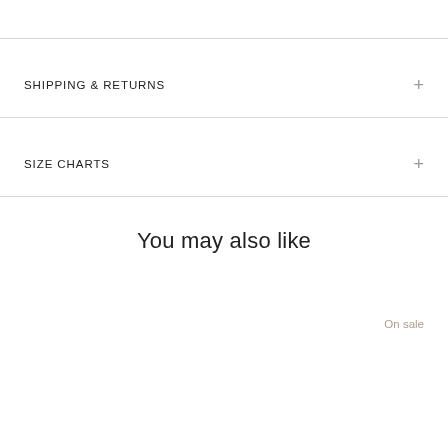SHIPPING & RETURNS
SIZE CHARTS
You may also like
On sale